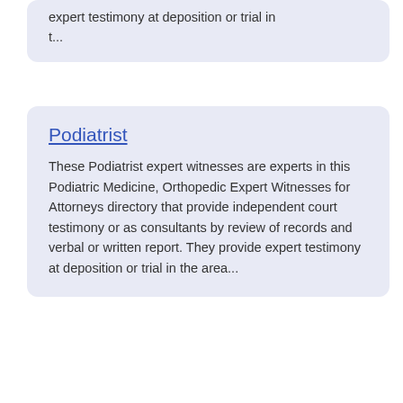expert testimony at deposition or trial in t...
Podiatrist
These Podiatrist expert witnesses are experts in this Podiatric Medicine, Orthopedic Expert Witnesses for Attorneys directory that provide independent court testimony or as consultants by review of records and verbal or written report. They provide expert testimony at deposition or trial in the area...
Podiatrist Orthopaedic
These Podiatrist Orthopaedic expert witnesses are experts in this Podiatric Medicine, Orthopedic Expert Witnesses for Attorneys directory that provide independent court testimony or as